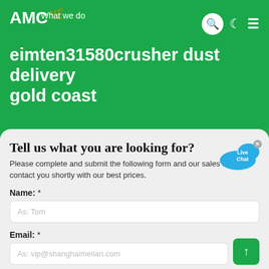AMC — What we do
eimten31580crusher dust delivery gold coast
Tell us what you are looking for?
Please complete and submit the following form and our sales team will contact you shortly with our best prices.
Name: *
As: Tom
Email: *
As: vip@shanghaimeilan.com
Phone: *
With Country Code